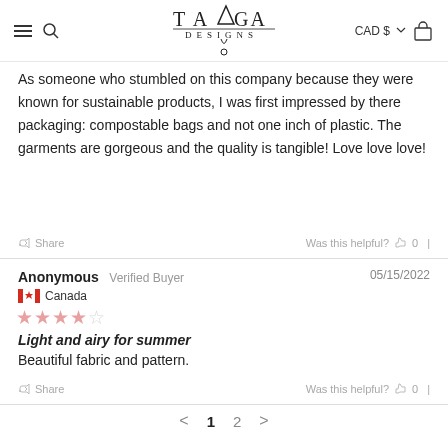TAMGA DESIGNS — CAD $
As someone who stumbled on this company because they were known for sustainable products, I was first impressed by there packaging: compostable bags and not one inch of plastic. The garments are gorgeous and the quality is tangible! Love love love!
Share   Was this helpful?  0
Anonymous  Verified Buyer   05/15/2022
Canada
★★★★☆
Light and airy for summer
Beautiful fabric and pattern.
Share   Was this helpful?  0
< 1 2 >